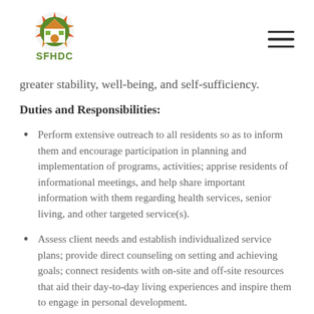[Figure (logo): SFHDC logo with colorful house/sun graphic and green SFHDC text]
greater stability, well-being, and self-sufficiency.
Duties and Responsibilities:
Perform extensive outreach to all residents so as to inform them and encourage participation in planning and implementation of programs, activities; apprise residents of informational meetings, and help share important information with them regarding health services, senior living, and other targeted service(s).
Assess client needs and establish individualized service plans; provide direct counseling on setting and achieving goals; connect residents with on-site and off-site resources that aid their day-to-day living experiences and inspire them to engage in personal development.
Plan and coordinate recreational, cultural,